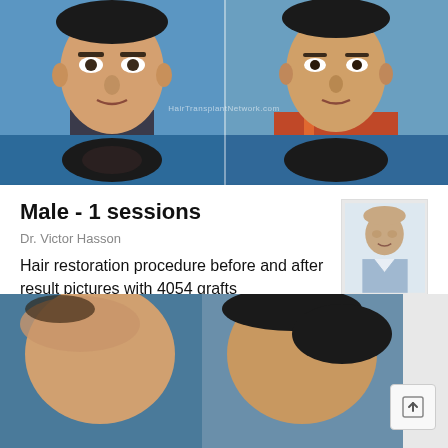[Figure (photo): Before and after hair transplant comparison photos showing male patient frontal face views (top row) and top-of-head views (bottom row) with watermark HairTransplantNetwork.com]
Male - 1 sessions
Dr. Victor Hasson
Hair restoration procedure before and after result pictures with 4054 grafts
[Figure (photo): Portrait photo of Dr. Victor Hasson, a middle-aged man wearing a light blue shirt]
Patient details
Dr. Hasson Patients
[Figure (photo): Before and after side/top-of-head hair transplant comparison photos showing hair density before (thinning) and after (fuller coverage) the procedure]